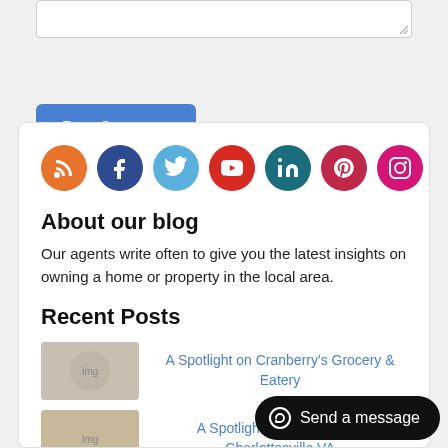[Figure (screenshot): Textarea input box at top of page]
Post Comment
[Figure (infographic): Social media icons row: RSS (orange), Facebook (dark blue), Twitter (light blue), YouTube (red), LinkedIn (teal), Pinterest (red), Instagram (pink)]
About our blog
Our agents write often to give you the latest insights on owning a home or property in the local area.
Recent Posts
A Spotlight on Cranberry's Grocery & Eatery
A Spotlight on Top Sushi in Charlottesville VA